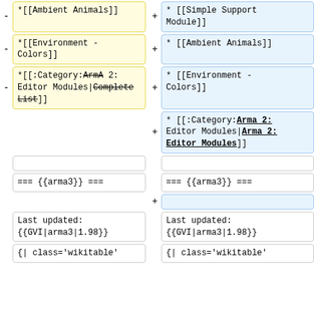-  *[[Ambient Animals]]
+  * [[Simple Support Module]]
-  *[[Environment - Colors]]
+  * [[Ambient Animals]]
-  *[[:Category:ArmA 2: Editor Modules|Complete List]]
+  * [[Environment - Colors]]
+  * [[:Category:Arma 2: Editor Modules|Arma 2: Editor Modules]]
=== {{arma3}} ===
=== {{arma3}} ===
+
Last updated:
{{GVI|arma3|1.98}}
Last updated:
{{GVI|arma3|1.98}}
{| class='wikitable'
{| class='wikitable'